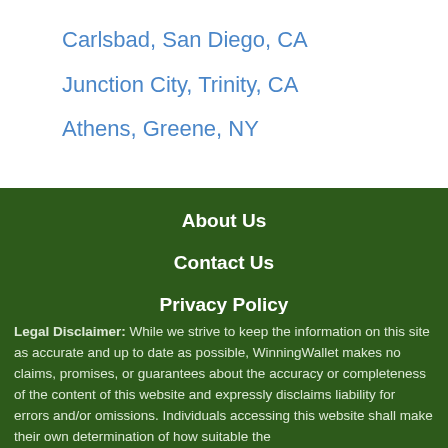Carlsbad, San Diego, CA
Junction City, Trinity, CA
Athens, Greene, NY
About Us
Contact Us
Privacy Policy
Legal Disclaimer: While we strive to keep the information on this site as accurate and up to date as possible, WinningWallet makes no claims, promises, or guarantees about the accuracy or completeness of the content of this website and expressly disclaims liability for errors and/or omissions. Individuals accessing this website shall make their own determination of how suitable the